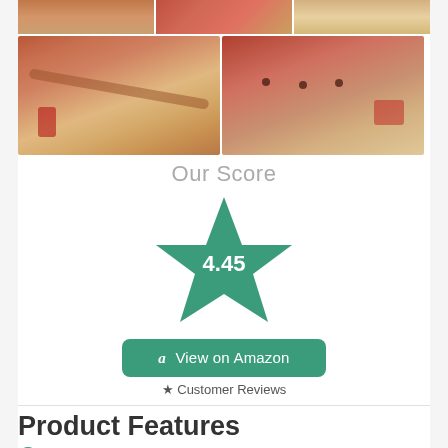[Figure (photo): Product photo grid showing red sandalwood flute from multiple angles — top row of three partial images and bottom row of two larger images showing flute with red tassel and finger holes]
Our Score
[Figure (infographic): Teal/green star rating graphic showing score 4.45]
View on Amazon
★ Customer Reviews
Product Features
Material: Sandalwood that is red in color